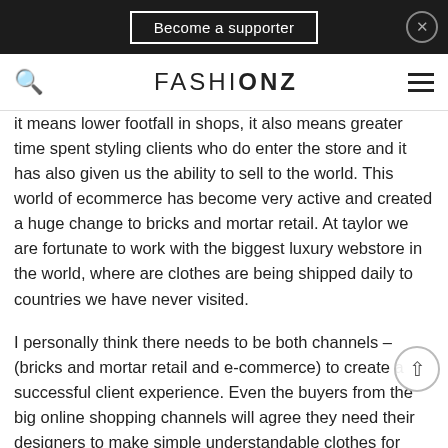I think the growth of e-commerce is massive. On the supply side and effortless international... the biggest online
FASHIONZ
Remember I started my business about e stuff had tax hassles and that different ones, exchange and...
It means lower footfall in shops, it also means greater time spent styling clients who do enter the store and it has also given us the ability to sell to the world. This world of ecommerce has become very active and created a huge change to bricks and mortar retail. At taylor we are fortunate to work with the biggest luxury webstore in the world, where are clothes are being shipped daily to countries we have never visited.
I personally think there needs to be both channels – (bricks and mortar retail and e-commerce) to create a successful client experience. Even the buyers from the big online shopping channels will agree they need their designers to make simple understandable clothes for online. So that need for something different will never be hugely successful on an online platform